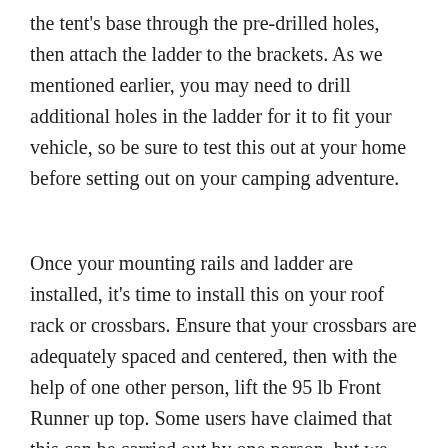the tent's base through the pre-drilled holes, then attach the ladder to the brackets. As we mentioned earlier, you may need to drill additional holes in the ladder for it to fit your vehicle, so be sure to test this out at your home before setting out on your camping adventure.
Once your mounting rails and ladder are installed, it's time to install this on your roof rack or crossbars. Ensure that your crossbars are adequately spaced and centered, then with the help of one other person, lift the 95 lb Front Runner up top. Some users have claimed that this can be carried out by one person, but we absolutely do not recommend putting this to the